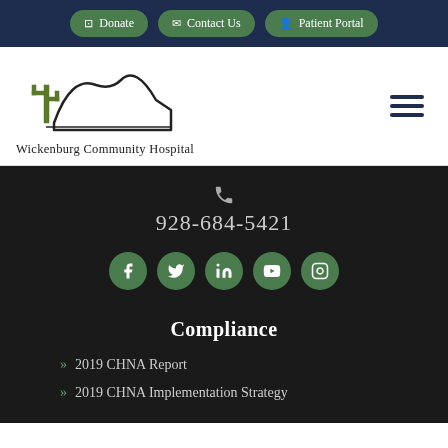Donate | Contact Us | Patient Portal
[Figure (logo): Wickenburg Community Hospital logo with cactus and mountain silhouette illustration and text 'Wickenburg Community Hospital']
928-684-5421
[Figure (infographic): Social media icons row: Facebook, Twitter, LinkedIn, YouTube, Instagram — green circles with white icons]
Compliance
2019 CHNA Report
2019 CHNA Implementation Strategy